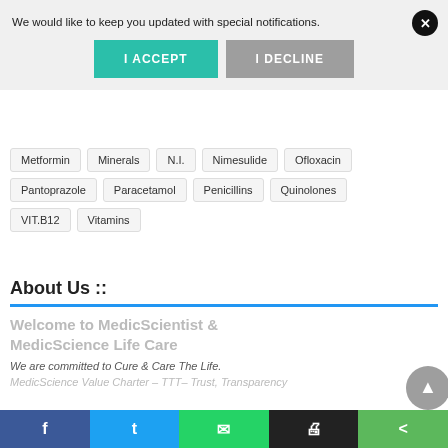We would like to keep you updated with special notifications.
I ACCEPT
I DECLINE
Metformin
Minerals
N.I.
Nimesulide
Ofloxacin
Pantoprazole
Paracetamol
Penicillins
Quinolones
VIT.B12
Vitamins
About Us ::
Welcome to MedicScientist  &
MedicScience Life Care
We are committed to Cure & Care The Life.
MedicScience Value Charter – TTT– Trust, Transparency